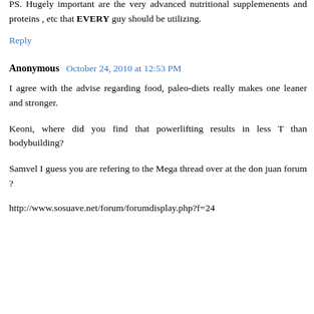That's not to say meat eating isn't effective for some. But I think experimentation to custom tailor each mans diet is the way to go.
PS. Hugely important are the very advanced nutritional supplemenents and proteins , etc that EVERY guy should be utilizing.
Reply
Anonymous  October 24, 2010 at 12:53 PM
I agree with the advise regarding food, paleo-diets really makes one leaner and stronger.
Keoni, where did you find that powerlifting results in less T than bodybuilding?
Samvel I guess you are refering to the Mega thread over at the don juan forum ?
http://www.sosuave.net/forum/forumdisplay.php?f=24